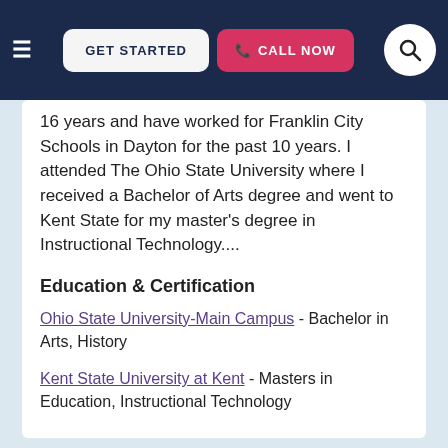GET STARTED | CALL NOW | [search]
16 years and have worked for Franklin City Schools in Dayton for the past 10 years. I attended The Ohio State University where I received a Bachelor of Arts degree and went to Kent State for my master's degree in Instructional Technology....
Education & Certification
Ohio State University-Main Campus - Bachelor in Arts, History
Kent State University at Kent - Masters in Education, Instructional Technology
View this Clark County Phonics Tutor ▶